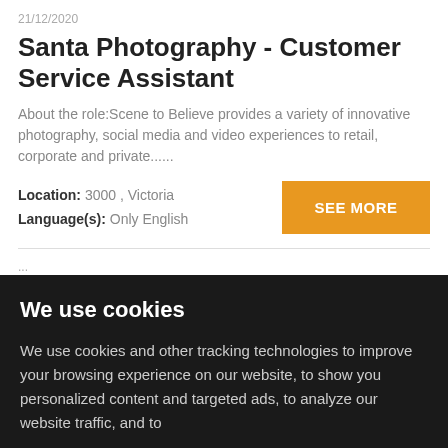21/12/2020
Santa Photography - Customer Service Assistant
About the role:Scene to Believe provides a variety of innovative photography, social media and video experiences to retail, corporate and private......
Location: 3000 , Victoria
Language(s): Only English
SEE MORE
We use cookies
We use cookies and other tracking technologies to improve your browsing experience on our website, to show you personalized content and targeted ads, to analyze our website traffic, and to